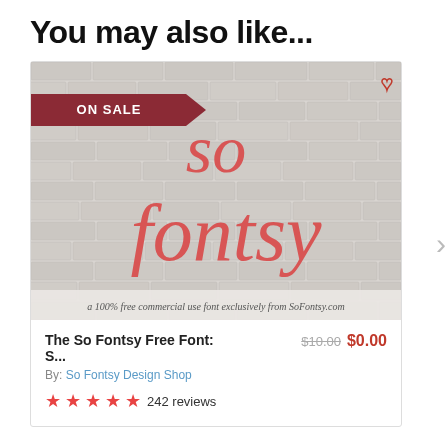You may also like...
[Figure (screenshot): Product card for 'The So Fontsy Free Font' showing a brick wall background with cursive red 'so fontsy' script, an ON SALE badge, a heart icon, and footer text 'a 100% free commercial use font exclusively from SoFontsy.com']
The So Fontsy Free Font: S...
By: So Fontsy Design Shop
$10.00 $0.00
★★★★★ 242 reviews